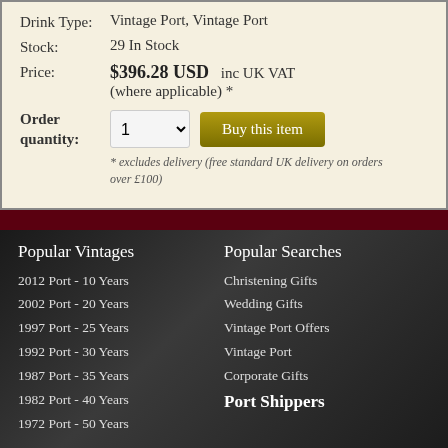Drink Type: Vintage Port, Vintage Port
Stock: 29 In Stock
Price: $396.28 USD  inc UK VAT (where applicable) *
Order quantity:
* excludes delivery (free standard UK delivery on orders over £100)
Popular Vintages
2012 Port - 10 Years
2002 Port - 20 Years
1997 Port - 25 Years
1992 Port - 30 Years
1987 Port - 35 Years
1982 Port - 40 Years
1972 Port - 50 Years
Popular Searches
Christening Gifts
Wedding Gifts
Vintage Port Offers
Vintage Port
Corporate Gifts
Port Shippers